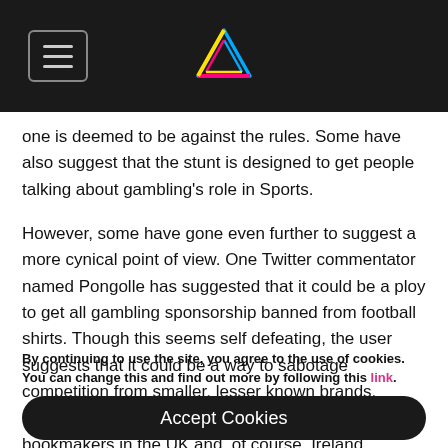[Navigation bar with hamburger menu and Penrose triangle logo]
one is deemed to be against the rules. Some have also suggest that the stunt is designed to get people talking about gambling's role in Sports.
However, some have gone even further to suggest a more cynical point of view. One Twitter commentator named Pongolle has suggested that it could be a ploy to get all gambling sponsorship banned from football shirts. Though this seems self defeating, the user suggests that it could be a way to sabotage competition from smaller, lesser known brands. Paddy Power is one of the most well-known bookmakers in the UK and, of course, Ireland.
By continuing to use the site, you agree to the use of cookies. You can change this and find out more by following this link.
Accept Cookies